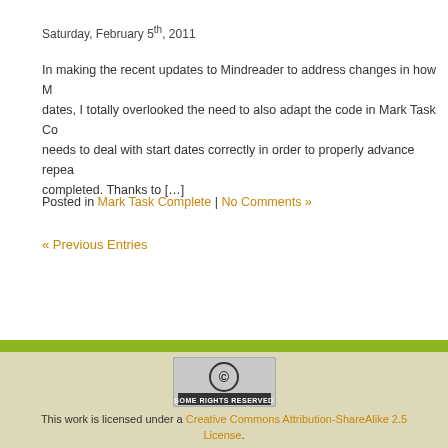Saturday, February 5th, 2011
In making the recent updates to Mindreader to address changes in how Mindreader dates, I totally overlooked the need to also adapt the code in Mark Task Complete needs to deal with start dates correctly in order to properly advance repeating tasks when completed. Thanks to […]
Posted in Mark Task Complete | No Comments »
« Previous Entries
[Figure (logo): Creative Commons Some Rights Reserved badge]
This work is licensed under a Creative Commons Attribution-ShareAlike 2.5 License.